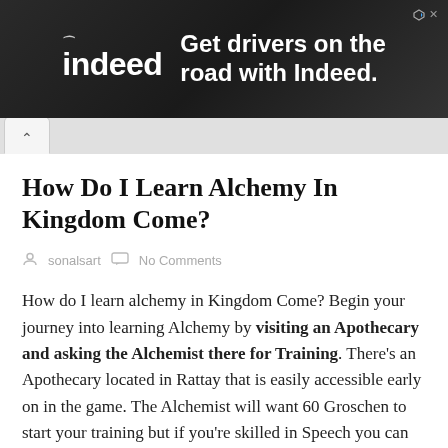[Figure (screenshot): Indeed advertisement banner with dark background showing 'Get drivers on the road with Indeed.' text and Indeed logo]
How Do I Learn Alchemy In Kingdom Come?
sonalsart   No Comments
How do I learn alchemy in Kingdom Come? Begin your journey into learning Alchemy by visiting an Apothecary and asking the Alchemist there for Training. There's an Apothecary located in Rattay that is easily accessible early on in the game. The Alchemist will want 60 Groschen to start your training but if you're skilled in Speech you can talk him down to 50.
How do I...